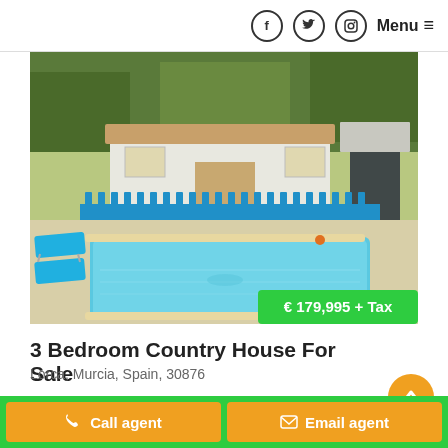f  ☁  ◎  Menu ≡
[Figure (photo): Exterior photo of a country house in Spain with a swimming pool, blue lounge chairs, a blue picket fence, white-washed buildings, and trees in the background. A price badge reads € 179,995 + Tax in the bottom right corner.]
3 Bedroom Country House For Sale
Lorca, Murcia, Spain, 30876
Call agent  Email agent